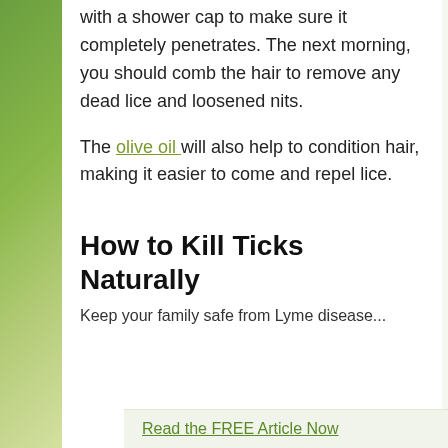with a shower cap to make sure it completely penetrates. The next morning, you should comb the hair to remove any dead lice and loosened nits.
The olive oil will also help to condition hair, making it easier to come and repel lice.
How to Kill Ticks Naturally
Keep your family safe from Lyme disease...
Read the FREE Article Now